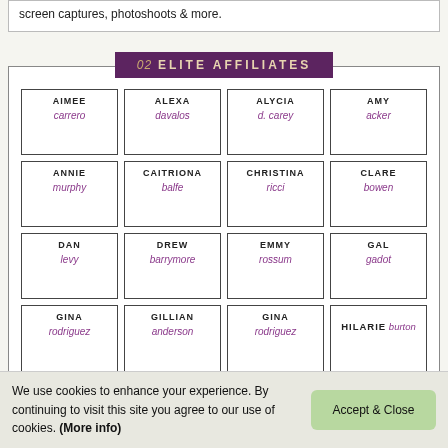screen captures, photoshoots & more.
02 ELITE AFFILIATES
| Col1 | Col2 | Col3 | Col4 |
| --- | --- | --- | --- |
| AIMEE carrero | ALEXA davalos | ALYCIA d. carey | AMY acker |
| ANNIE murphy | CAITRIONA balfe | CHRISTINA ricci | CLARE bowen |
| DAN levy | DREW barrymore | EMMY rossum | GAL gadot |
| GINA rodriguez | GILLIAN anderson | GINA rodriguez | HILARIE burton |
| JACOB | JAY | JOEY | KATE |
We use cookies to enhance your experience. By continuing to visit this site you agree to our use of cookies. (More info)